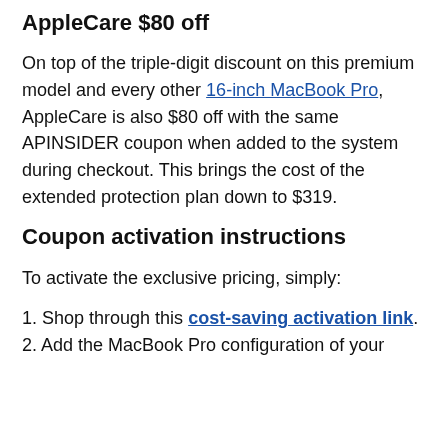AppleCare $80 off
On top of the triple-digit discount on this premium model and every other 16-inch MacBook Pro, AppleCare is also $80 off with the same APINSIDER coupon when added to the system during checkout. This brings the cost of the extended protection plan down to $319.
Coupon activation instructions
To activate the exclusive pricing, simply:
1. Shop through this cost-saving activation link.
2. Add the MacBook Pro configuration of your